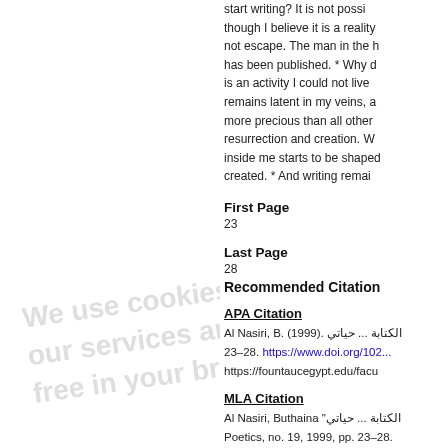start writing? It is not possi... though I believe it is a reality not escape. The man in the h has been published. * Why d is an activity I could not live remains latent in my veins, a more precious than all other resurrection and creation. W inside me starts to be shaped created. * And writing remai
First Page
23
Last Page
28
Recommended Citation
APA Citation
Al Nasiri, B. (1999). الكتابة ... حياتي 23–28. https://www.doi.org/102... https://fountaucegypt.edu/facu
MLA Citation
Al Nasiri, Buthaina "الكتابة ... حياتي Poetics, no. 19, 1999, pp. 23–28.